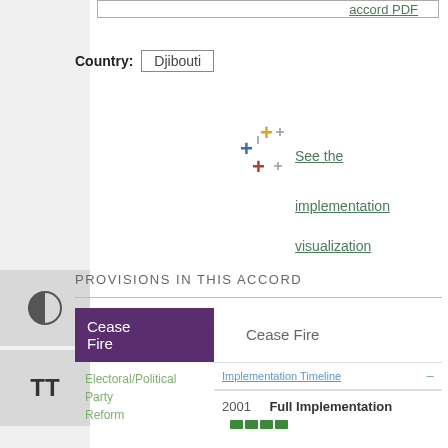accord PDF
Country: Djibouti
[Figure (illustration): Colorful plus/cross icon with orange, blue, and red crosses]
See the implementation visualization
PROVISIONS IN THIS ACCORD
| Category | Provision | Detail |
| --- | --- | --- |
| Cease Fire | Cease Fire |  |
| Electoral/Political Party Reform | Implementation Timeline | – |
|  | 2001 | Full Implementation ████ |